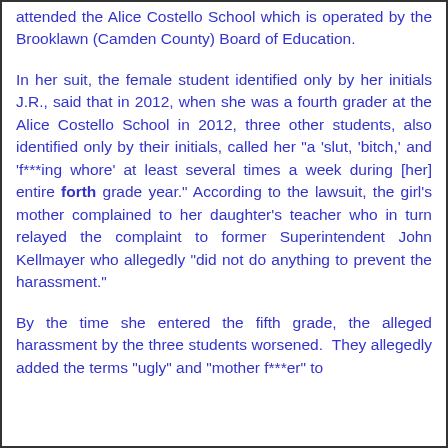attended the Alice Costello School which is operated by the Brooklawn (Camden County) Board of Education.
In her suit, the female student identified only by her initials J.R., said that in 2012, when she was a fourth grader at the Alice Costello School in 2012, three other students, also identified only by their initials, called her "a 'slut, 'bitch,' and 'f***ing whore' at least several times a week during [her] entire forth grade year." According to the lawsuit, the girl's mother complained to her daughter's teacher who in turn relayed the complaint to former Superintendent John Kellmayer who allegedly "did not do anything to prevent the harassment."
By the time she entered the fifth grade, the alleged harassment by the three students worsened.  They allegedly added the terms "ugly" and "mother f***er" to